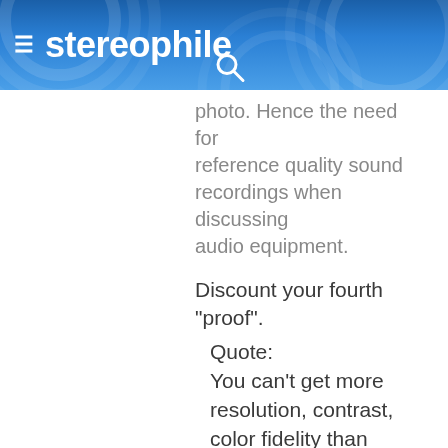stereophile
photo. Hence the need for reference quality sound recordings when discussing audio equipment.

Discount your fourth "proof".
Quote:
You can't get more resolution, contrast, color fidelity than what's on the negative.